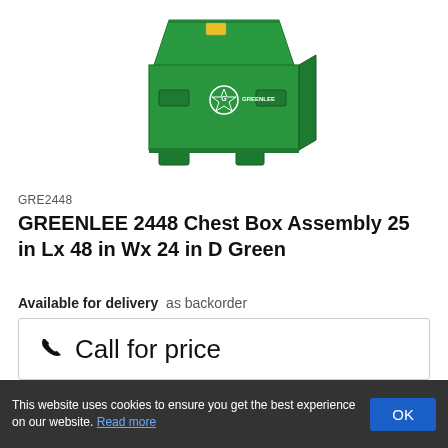[Figure (photo): Green Greenlee 2448 chest box/job site box with lid open, shown in 3/4 angle view]
GRE2448
GREENLEE 2448 Chest Box Assembly 25 in Lx 48 in Wx 24 in D Green
Available for delivery  as backorder
☎ Call for price
Manufacturer: GREENLEE
This website uses cookies to ensure you get the best experience on our website. Read more